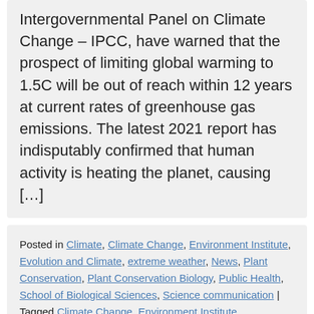Intergovernmental Panel on Climate Change – IPCC, have warned that the prospect of limiting global warming to 1.5C will be out of reach within 12 years at current rates of greenhouse gas emissions. The latest 2021 report has indisputably confirmed that human activity is heating the planet, causing […]
Posted in Climate, Climate Change, Environment Institute, Evolution and Climate, extreme weather, News, Plant Conservation, Plant Conservation Biology, Public Health, School of Biological Sciences, Science communication | Tagged Climate Change, Environment Institute researchers, IPCC, opinion, paleoclimate, scientists |
Comments Off on Researchers respond to the IPCC's report that human activity is undeniably heating the planet.